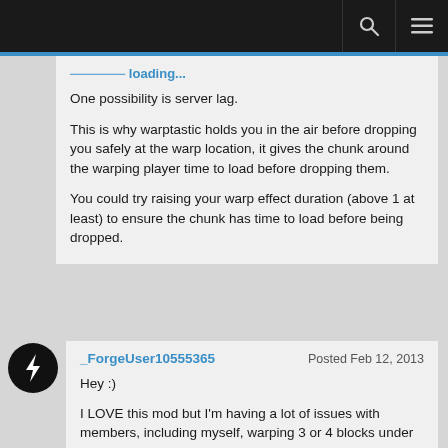Navigation bar with search and menu icons
One possibility is server lag.
This is why warptastic holds you in the air before dropping you safely at the warp location, it gives the chunk around the warping player time to load before dropping them.
You could try raising your warp effect duration (above 1 at least) to ensure the chunk has time to load before being dropped.
_ForgeUser10555365   Posted Feb 12, 2013
Hey :)
I LOVE this mod but I'm having a lot of issues with members, including myself, warping 3 or 4 blocks under where we're supposed to. Sometimes this results in death, making it pretty dangerous to warp if we're